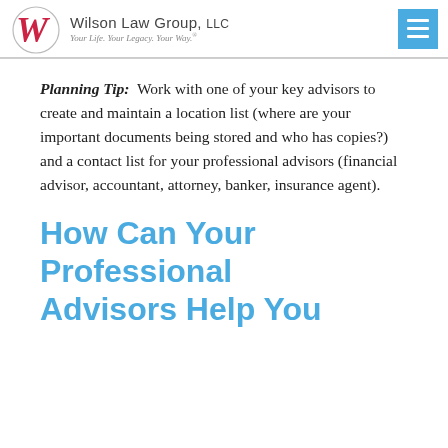Wilson Law Group, LLC — Your Life. Your Legacy. Your Way.
Planning Tip: Work with one of your key advisors to create and maintain a location list (where are your important documents being stored and who has copies?) and a contact list for your professional advisors (financial advisor, accountant, attorney, banker, insurance agent).
How Can Your Professional Advisors Help You